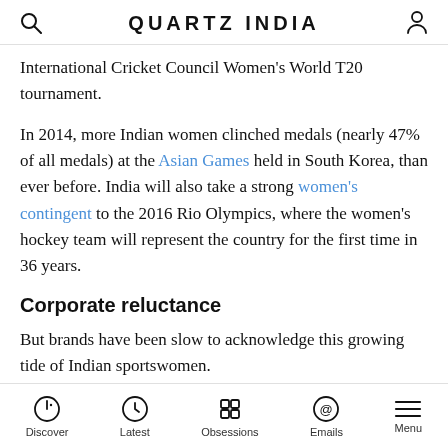QUARTZ INDIA
International Cricket Council Women's World T20 tournament.
In 2014, more Indian women clinched medals (nearly 47% of all medals) at the Asian Games held in South Korea, than ever before. India will also take a strong women's contingent to the 2016 Rio Olympics, where the women's hockey team will represent the country for the first time in 36 years.
Corporate reluctance
But brands have been slow to acknowledge this growing tide of Indian sportswomen.
Discover | Latest | Obsessions | Emails | Menu